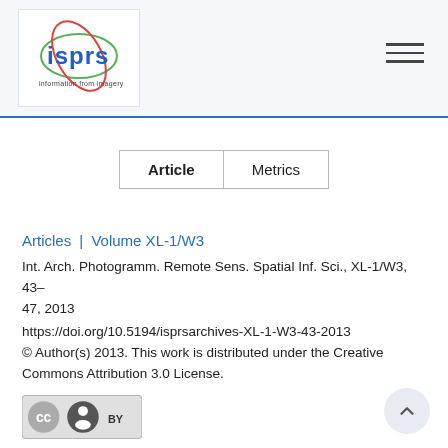[Figure (logo): ISPRS logo — blue 'isprs' text with red/green orbital ellipses and tagline 'information from imagery']
Articles | Volume XL-1/W3
Int. Arch. Photogramm. Remote Sens. Spatial Inf. Sci., XL-1/W3, 43–47, 2013
https://doi.org/10.5194/isprsarchives-XL-1-W3-43-2013
© Author(s) 2013. This work is distributed under the Creative Commons Attribution 3.0 License.
[Figure (logo): Creative Commons BY license badge]
24 Sep 2013